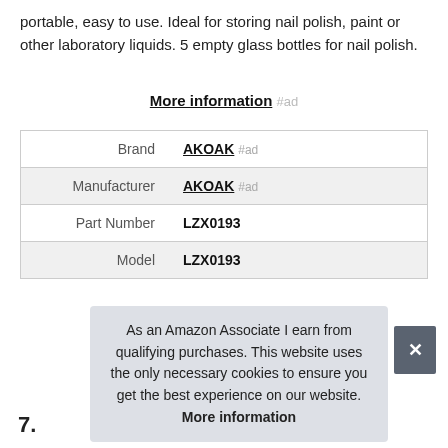portable, easy to use. Ideal for storing nail polish, paint or other laboratory liquids. 5 empty glass bottles for nail polish.
More information #ad
| Brand | AKOAK #ad |
| Manufacturer | AKOAK #ad |
| Part Number | LZX0193 |
| Model | LZX0193 |
More information #ad
As an Amazon Associate I earn from qualifying purchases. This website uses the only necessary cookies to ensure you get the best experience on our website. More information
7.